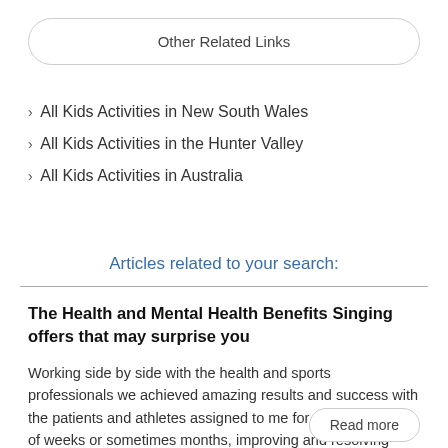Other Related Links
All Kids Activities in New South Wales
All Kids Activities in the Hunter Valley
All Kids Activities in Australia
Articles related to your search:
The Health and Mental Health Benefits Singing offers that may surprise you
Working side by side with the health and sports professionals we achieved amazing results and success with the patients and athletes assigned to me for the short period of weeks or sometimes months, improving and resolving issues once holding back a career or there life.
Read more